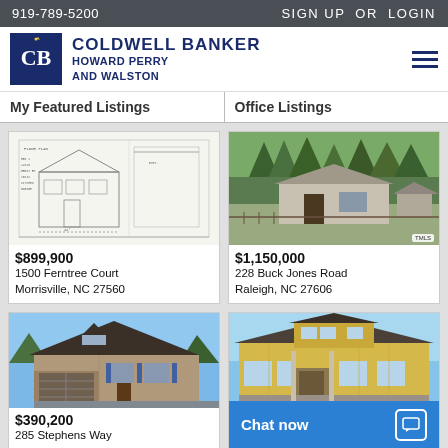919-789-5200   SIGN UP OR LOGIN
[Figure (logo): Coldwell Banker Howard Perry and Walston logo with CB monogram]
My Featured Listings
Office Listings
[Figure (photo): Blueprint/architectural drawing of a house plan]
$899,900
1500 Ferntree Court
Morrisville, NC 27560
[Figure (photo): Photo of a house with trees in background at 228 Buck Jones Road]
$1,150,000
228 Buck Jones Road
Raleigh, NC 27606
[Figure (photo): Photo of craftsman-style house at 285 Stephens Way]
$390,200
285 Stephens Way
[Figure (photo): Photo of craftsman-style house with yellow siding]
Chat now